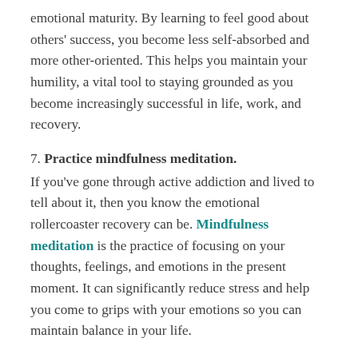emotional maturity. By learning to feel good about others' success, you become less self-absorbed and more other-oriented. This helps you maintain your humility, a vital tool to staying grounded as you become increasingly successful in life, work, and recovery.
7. Practice mindfulness meditation. If you've gone through active addiction and lived to tell about it, then you know the emotional rollercoaster recovery can be. Mindfulness meditation is the practice of focusing on your thoughts, feelings, and emotions in the present moment. It can significantly reduce stress and help you come to grips with your emotions so you can maintain balance in your life.
It's also important to remember that drug and